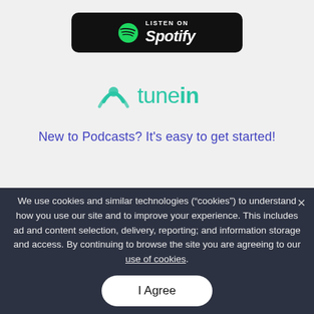[Figure (logo): Listen on Spotify badge — black rounded rectangle with Spotify logo and text]
[Figure (logo): TuneIn logo — green icon with tunein wordmark in teal/green]
New to Podcasts? It's easy to get started!
We use cookies and similar technologies (“cookies”) to understand how you use our site and to improve your experience. This includes ad and content selection, delivery, reporting; and information storage and access. By continuing to browse the site you are agreeing to our use of cookies.
I Agree